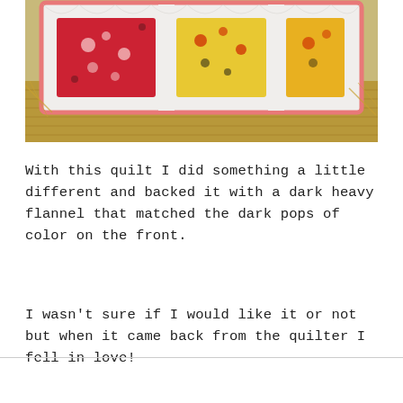[Figure (photo): A quilt with red floral fabric and yellow patterned squares laid over bales of hay, with a pink binding edge visible. The background shows hay/straw bales.]
With this quilt I did something a little different and backed it with a dark heavy flannel that matched the dark pops of color on the front.
I wasn't sure if I would like it or not but when it came back from the quilter I fell in love!